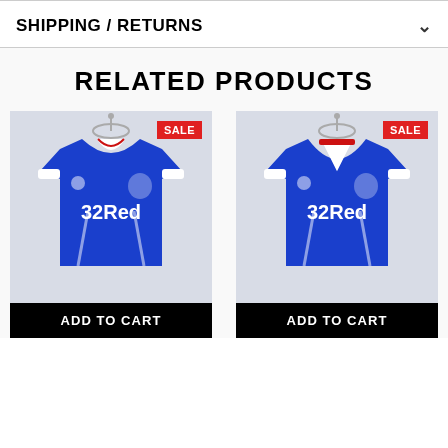SHIPPING / RETURNS
RELATED PRODUCTS
[Figure (photo): Blue Rangers Puma 32Red football shirt on a hanger with SALE badge]
ADD TO CART
[Figure (photo): Blue Rangers Puma 32Red football shirt on a hanger with SALE badge]
ADD TO CART